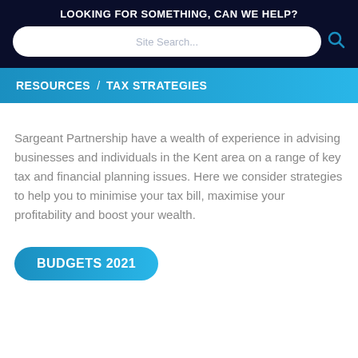LOOKING FOR SOMETHING, CAN WE HELP?
RESOURCES  /  TAX STRATEGIES
Sargeant Partnership have a wealth of experience in advising businesses and individuals in the Kent area on a range of key tax and financial planning issues. Here we consider strategies to help you to minimise your tax bill, maximise your profitability and boost your wealth.
BUDGETS 2021